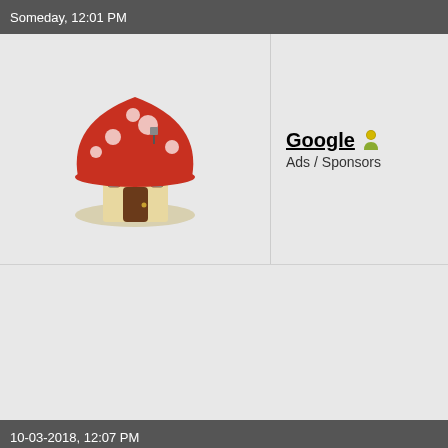Someday, 12:01 PM
[Figure (illustration): Cartoon mushroom house avatar]
Google
Ads / Sponsors
10-03-2018, 12:07 PM
sanlyn
Premium Member
SMPTE side borders and bottom-border head-switching noise are present on a

Forget Pinnacle. It's horrible software.
http://www.digitalfaq.com/forum/vide...erly-crop.html. The link refers to image b images do not.